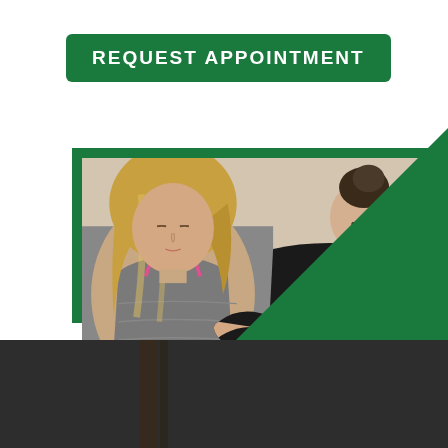REQUEST APPOINTMENT
[Figure (photo): A physical therapist in a black Hybrid hoodie examining or assisting a female patient in a gray racerback tank top with pink straps. The therapist has her hand on the patient's shoulder/arm area. Both are indoors.]